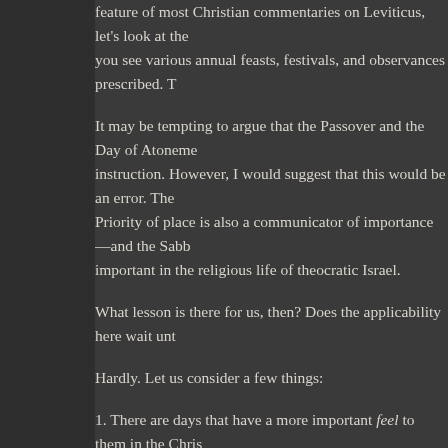feature of most Christian commentaries on Leviticus, let's look at the you see various annual feasts, festivals, and observances prescribed. T
It may be tempting to argue that the Passover and the Day of Atoneme instruction. However, I would suggest that this would be an error. The Priority of place is also a communicator of importance—and the Sabb important in the religious life of theocratic Israel.
What lesson is there for us, then? Does the applicability here wait unt
Hardly. Let us consider a few things:
1. There are days that have a more important feel to them in the Chris to church.) These days have significance. We mark important historica Exodus or Hanukkah marks the actual rededication of the Temple in t every event in the church and not treating any day as greater than the
2. There are days that we think are just not that important. The first Su not that important. After all, we can do what we need on those days…
Actually, falling off the cliff in either of those directions is not helpful highlight in the worship of the One True God, but that we cannot negl a married couple that only really thought about being married on their would be a little on the foolish side, would it not?
Yet we can also see the foolishness in acting like every day is just the your mother that after you skip over Mother's Day this year, I dare…